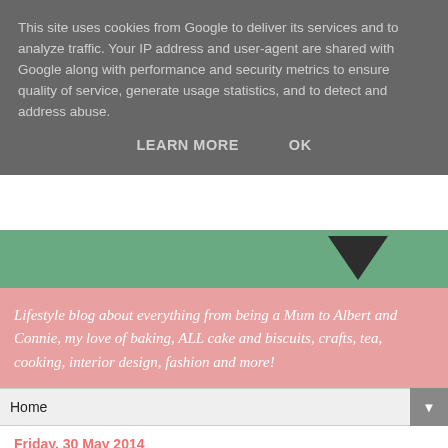This site uses cookies from Google to deliver its services and to analyze traffic. Your IP address and user-agent are shared with Google along with performance and security metrics to ensure quality of service, generate usage statistics, and to detect and address abuse.
LEARN MORE   OK
[Figure (photo): Green background with a dark triangular shape on the right side]
Lifestyle blog about everything from being a Mum to Albert and Connie, my love of baking, ALL cake and biscuits, crafts, tea, cooking, interior design, fashion and more!
Home ▼
Friday, 30 May 2014
Loved By Parents BLOGGER OF THE YEAR 2014: I've been shortlisted!!!